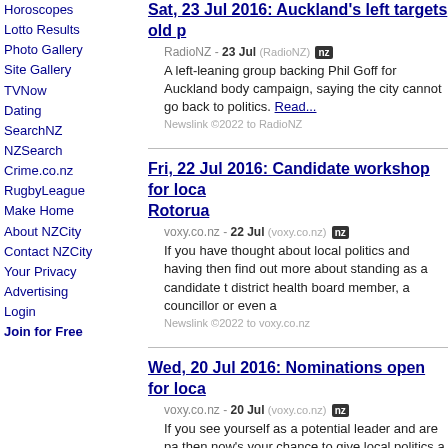Horoscopes
Lotto Results
Photo Gallery
Site Gallery
TVNow
Dating
SearchNZ
NZSearch
Crime.co.nz
RugbyLeague
Make Home
About NZCity
Contact NZCity
Your Privacy
Advertising
Login
Join for Free
Sat, 23 Jul 2016: Auckland's left targets old p
RadioNZ - 23 Jul (RadioNZ) (nz)
A left-leaning group backing Phil Goff for Auckland body campaign, saying the city cannot go back to politics. Read...
Newslink ©2022 to RadioNZ
Fri, 22 Jul 2016: Candidate workshop for loca Rotorua
voxy.co.nz - 22 Jul (voxy.co.nz) (nz)
If you have thought about local politics and having then find out more about standing as a candidate t district health board member, a councillor or even a
Newslink ©2022 to voxy.co.nz
Wed, 20 Jul 2016: Nominations open for loca
voxy.co.nz - 20 Jul (voxy.co.nz) (nz)
If you see yourself as a potential leader and are pa then now's your chance to give local politics a go a community's future. Nominations for candidates wi council elections are open. Read...
Newslink ©2022 to voxy.co.nz